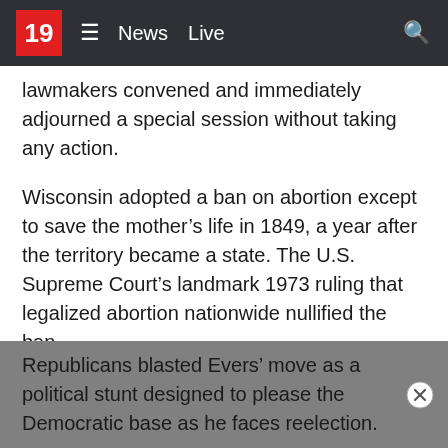19  ≡  News  Live
lawmakers convened and immediately adjourned a special session without taking any action.
Wisconsin adopted a ban on abortion except to save the mother's life in 1849, a year after the territory became a state. The U.S. Supreme Court's landmark 1973 ruling that legalized abortion nationwide nullified the ban.
The court is expected to rule this month in a case that could end Roe v. Wade, which would allow Wisconsin's ban to take effect. Lawmakers had to meet after Evers called the Legislature into special session this month, but they were not required to vote on the issue.
Republicans blasted Evers' move as a political stunt designed to please the Democratic base as he faces reelection.